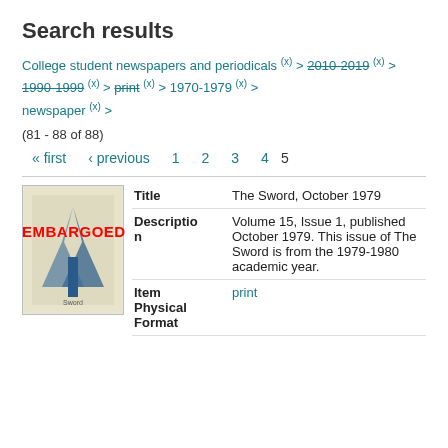Search results
College student newspapers and periodicals (x) > 2010-2019 (x) > 1990-1999 (x) > print (x) > 1970-1979 (x) > newspaper (x) >
(81 - 88 of 88)
« first  ‹ previous  1  2  3  4  5
| Field | Value |
| --- | --- |
| Title | The Sword, October 1979 |
| Description | Volume 15, Issue 1, published October 1979. This issue of The Sword is from the 1979-1980 academic year. |
| Item Physical Format | print |